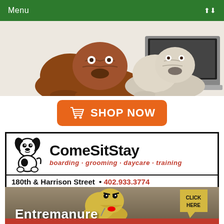Menu
[Figure (photo): Two bulldog puppies lying in front of a laptop computer on a white background]
[Figure (infographic): Orange 'SHOP NOW' button with shopping cart icon]
[Figure (logo): ComeSitStay advertisement: logo with cartoon dog, brand name, services (boarding, grooming, daycare, training), address 180th & Harrison Street, phone 402.933.3774]
[Figure (infographic): Entremanure advertisement with cartoon bulldog, 'CLICK HERE' bubble, text 'Entremanure', red strip with tagline 'Make your dog happy. Make your yard happy.']